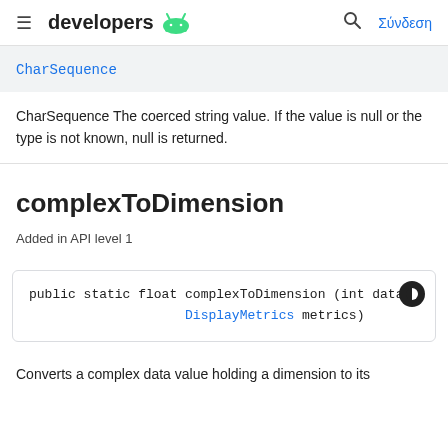developers  Σύνδεση
CharSequence
CharSequence The coerced string value. If the value is null or the type is not known, null is returned.
complexToDimension
Added in API level 1
public static float complexToDimension (int data,
                    DisplayMetrics metrics)
Converts a complex data value holding a dimension to its